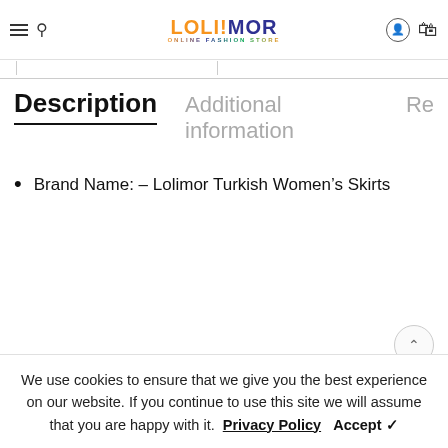LOLIMOR ONLINE FASHION STORE
Description | Additional information | Re
Brand Name: – Lolimor Turkish Women's Skirts
We use cookies to ensure that we give you the best experience on our website. If you continue to use this site we will assume that you are happy with it. Privacy Policy Accept ✓